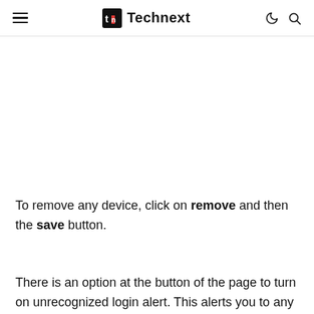Technext
To remove any device, click on remove and then the save button.
There is an option at the button of the page to turn on unrecognized login alert. This alerts you to any first